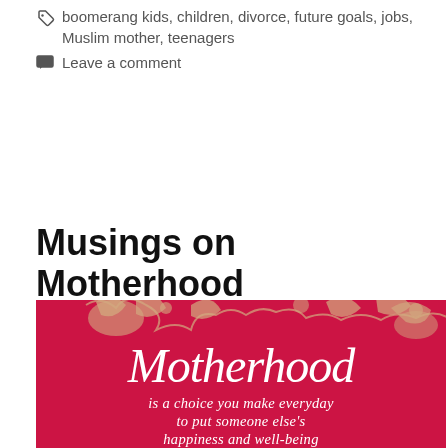boomerang kids, children, divorce, future goals, jobs, Muslim mother, teenagers
Leave a comment
Musings on Motherhood
[Figure (illustration): Red decorative background with cream floral scroll design. White cursive script reads 'Motherhood' with serif text below reading 'is a choice you make everyday to put someone else's happiness and well-being']